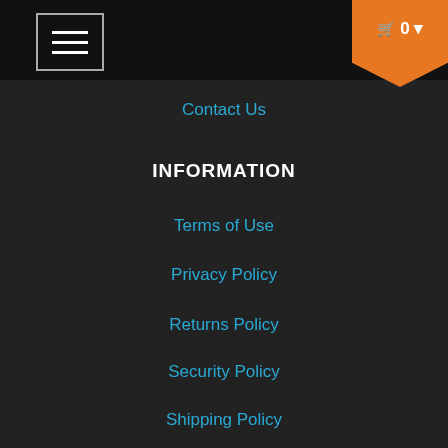☰  🛒 0
Contact Us
INFORMATION
Terms of Use
Privacy Policy
Returns Policy
Security Policy
Shipping Policy
CONTACT
📞 1300206949
✉ terri@petsonthepark.com.au